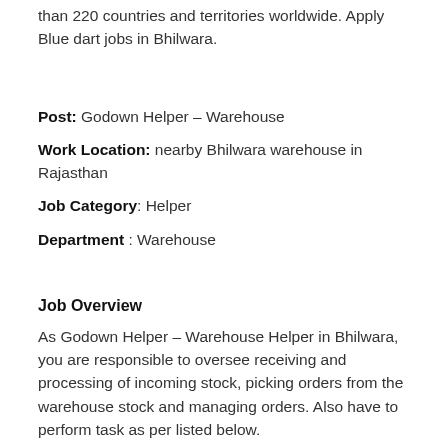covering over 35,000 locations, and serves more than 220 countries and territories worldwide. Apply Blue dart jobs in Bhilwara.
Post: Godown Helper – Warehouse
Work Location: nearby Bhilwara warehouse in Rajasthan
Job Category: Helper
Department : Warehouse
Job Overview
As Godown Helper – Warehouse Helper in Bhilwara, you are responsible to oversee receiving and processing of incoming stock, picking orders from the warehouse stock and managing orders. Also have to perform task as per listed below.